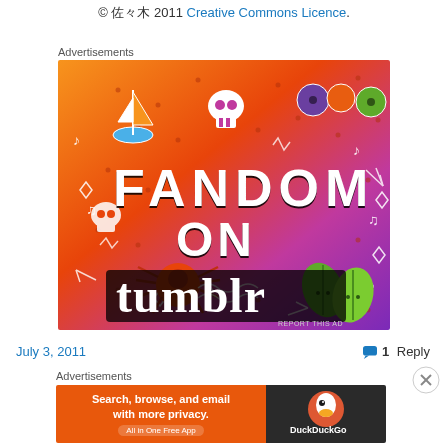© 佐々木 2011 Creative Commons Licence.
Advertisements
[Figure (illustration): Fandom on Tumblr advertisement banner with colorful orange-to-purple gradient background, cartoon doodles of a sailboat, skull, dice, spider, leaves, and text reading FANDOM ON tumblr]
July 3, 2011
1 Reply
Advertisements
[Figure (illustration): DuckDuckGo advertisement: Search, browse, and email with more privacy. All in One Free App. Shows DuckDuckGo logo on dark background.]